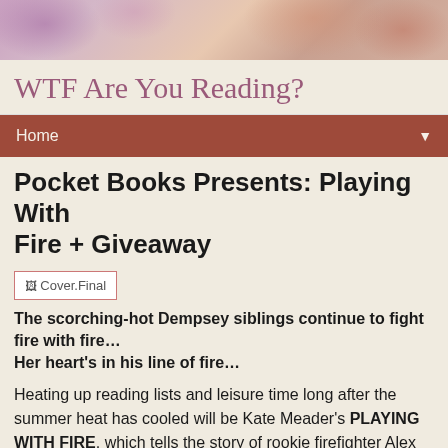[Figure (illustration): Decorative watercolor-style header image with abstract floral/paint splash in purples, pinks, and warm reds/oranges]
WTF Are You Reading?
Home ▼
Pocket Books Presents: Playing With Fire + Giveaway
[Figure (photo): Book cover image placeholder labeled Cover.Final]
The scorching-hot Dempsey siblings continue to fight fire with fire…
Her heart's in his line of fire…
Heating up reading lists and leisure time long after the summer heat has cooled will be Kate Meader's PLAYING WITH FIRE, which tells the story of rookie firefighter Alex Dempsey. She may be the only woman in Engine Company 6—and may have burned through thirty-four dates in the last